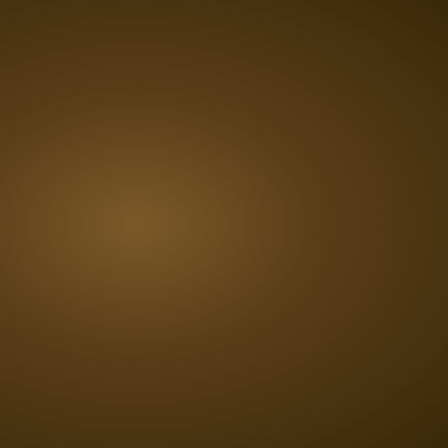determine the nature of this tip. I a diamond and adamantite. I know o appearance that shimmers and spa surface. Soon I will pursue a full c
Given proper magical guidance ar placed before it. Indeed, this magi them, aiding the user to mold item mind's eye.
Master Rary, how I know these de and tower, after having laid him lo let you know this so that I might b
Re: Postfest XVIII (Richfest 2016): Ta by Kraftwerk (xxx.kraftwerk.xxx@gmail.com) on Sun (User Info | Send a Message)
Syz,